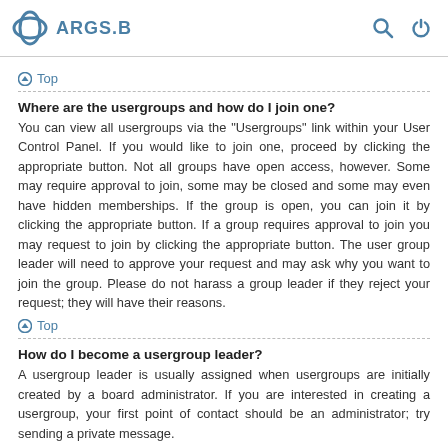ARGS.B
Top
Where are the usergroups and how do I join one?
You can view all usergroups via the "Usergroups" link within your User Control Panel. If you would like to join one, proceed by clicking the appropriate button. Not all groups have open access, however. Some may require approval to join, some may be closed and some may even have hidden memberships. If the group is open, you can join it by clicking the appropriate button. If a group requires approval to join you may request to join by clicking the appropriate button. The user group leader will need to approve your request and may ask why you want to join the group. Please do not harass a group leader if they reject your request; they will have their reasons.
Top
How do I become a usergroup leader?
A usergroup leader is usually assigned when usergroups are initially created by a board administrator. If you are interested in creating a usergroup, your first point of contact should be an administrator; try sending a private message.
Top